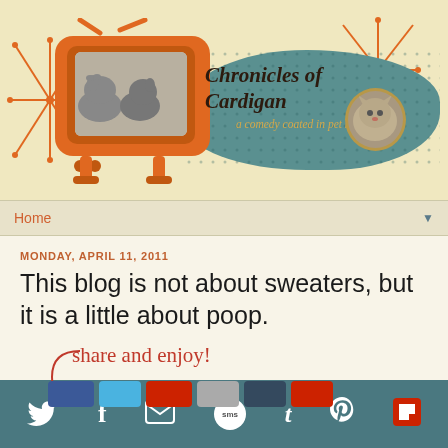[Figure (illustration): Blog header banner with retro orange TV showing dogs, teal blob background with blog title 'Chronicles of Cardigan - a comedy coated in pet hair', decorative orange starburst lines, and cat photo]
Home
MONDAY, APRIL 11, 2011
This blog is not about sweaters, but it is a little about poop.
share and enjoy!
Social sharing icons: Twitter, Facebook, Email, SMS, Tumblr, Pinterest, Flipboard